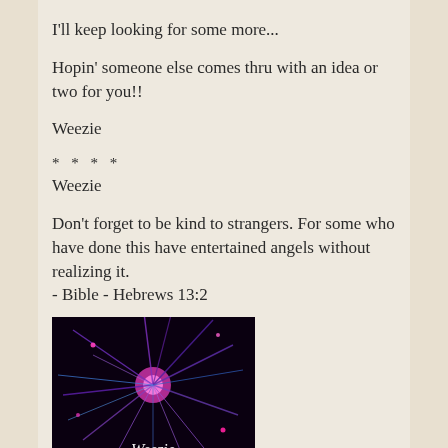I'll keep looking for some more...
Hopin' someone else comes thru with an idea or two for you!!
Weezie
* * * *
Weezie
Don't forget to be kind to strangers. For some who have done this have entertained angels without realizing it.
- Bible - Hebrews 13:2
[Figure (illustration): Dark background avatar image with purple and pink fireworks/starburst design and cursive text 'Weezie' at the bottom]
[Figure (illustration): Badge showing 'Hostess' text on dark background, with 'WOW!!!' text on yellow background below]